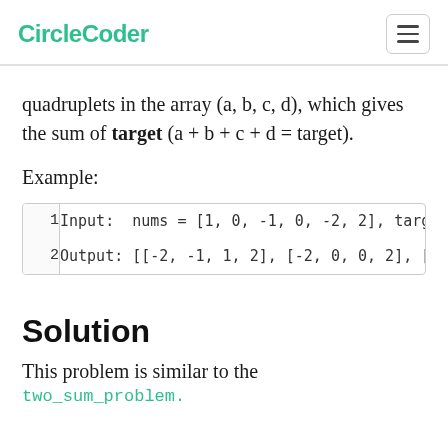CircleCoder
quadruplets in the array (a, b, c, d), which gives the sum of target (a + b + c + d = target).
Example:
| 1 | Input: nums = [1, 0, -1, 0, -2, 2], target = |
| 2 | Output: [[-2, -1, 1, 2], [-2, 0, 0, 2], [-1, |
Solution
This problem is similar to the two_sum_problem.